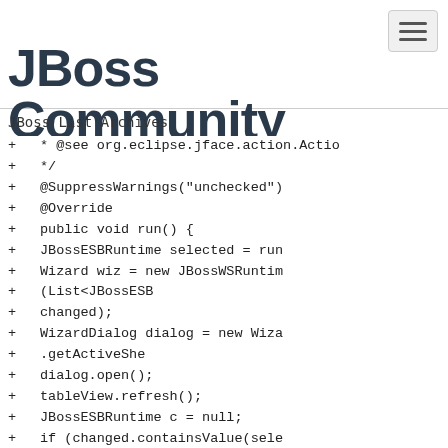JBoss Community
JBoss List Archives
+                 * @see org.eclipse.jface.action.Actio
+                 */
+                 @SuppressWarnings("unchecked")
+                 @Override
+                 public void run() {
+                         JBossESBRuntime selected = run
+                         Wizard wiz = new JBossWSRuntim
+                                         (List<JBossESB
+                                         changed);
+                         WizardDialog dialog = new Wiza
+                                         .getActiveShe
+                 dialog.open();
+                 tableView.refresh();
+                 JBossESBRuntime c = null;
+                 if (changed.containsValue(sele
+                         c = findChangedRuntime